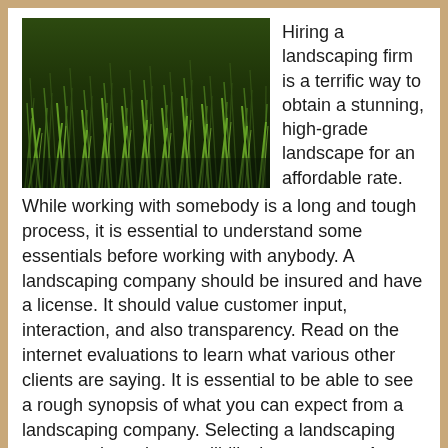[Figure (photo): Close-up photo of green grass blades]
Hiring a landscaping firm is a terrific way to obtain a stunning, high-grade landscape for an affordable rate.
While working with somebody is a long and tough process, it is essential to understand some essentials before working with anybody. A landscaping company should be insured and have a license. It should value customer input, interaction, and also transparency. Read on the internet evaluations to learn what various other clients are saying. It is essential to be able to see a rough synopsis of what you can expect from a landscaping company. Selecting a landscaping company based on credibility is necessary. A trustworthy firm will not be embarrassed by concerns. It should be greater than going to discuss the scope of the work and describe it extensively. An additional essential factor to consider when selecting a landscape design company is value. While it is important to find a company that offers the very best possible rate, make sure to request for the finest. An economical business may be able to reduce edges on the top quality of their job, or might use inferior products as well as inexperienced workers. When hiring a landscaping business,